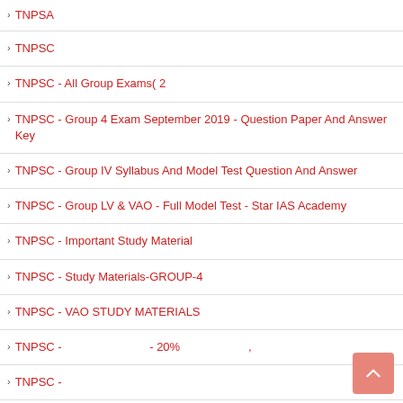TNPSA
TNPSC
TNPSC - All Group Exams( 2
TNPSC - Group 4 Exam September 2019 - Question Paper And Answer Key
TNPSC - Group IV Syllabus And Model Test Question And Answer
TNPSC - Group LV & VAO - Full Model Test - Star IAS Academy
TNPSC - Important Study Material
TNPSC - Study Materials-GROUP-4
TNPSC - VAO STUDY MATERIALS
TNPSC -                         - 20%                    ,
TNPSC -
TNPSC -PREVIOUS YEAR QUESTIONS